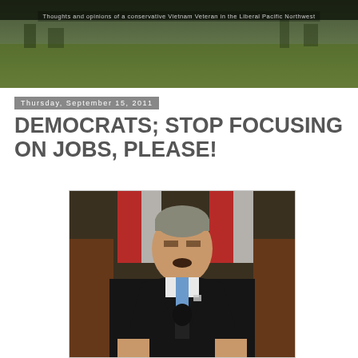Thoughts and opinions of a conservative Vietnam Veteran in the Liberal Pacific Northwest
Thursday, September 15, 2011
DEMOCRATS; STOP FOCUSING ON JOBS, PLEASE!
[Figure (photo): A man in a dark suit with a blue tie speaking at a podium with a microphone, with an American flag in the background]